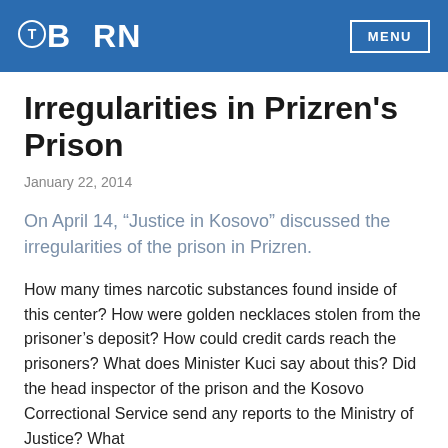BIRN | MENU
Irregularities in Prizren's Prison
January 22, 2014
On April 14, “Justice in Kosovo” discussed the irregularities of the prison in Prizren.
How many times narcotic substances found inside of this center? How were golden necklaces stolen from the prisoner’s deposit? How could credit cards reach the prisoners? What does Minister Kuci say about this? Did the head inspector of the prison and the Kosovo Correctional Service send any reports to the Ministry of Justice? What